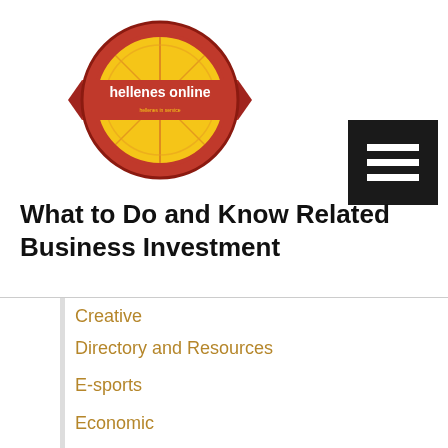[Figure (logo): Hellenes Online circular logo with red and yellow design and red banner reading 'hellenes online']
[Figure (other): Black hamburger menu button with three white horizontal lines]
What to Do and Know Related Business Investment
Creative
Directory and Resources
E-sports
Economic
Education Sciences and Career
Electronics Repair
Event Organizer, Spa, Beauty and Hair Salon
Financial